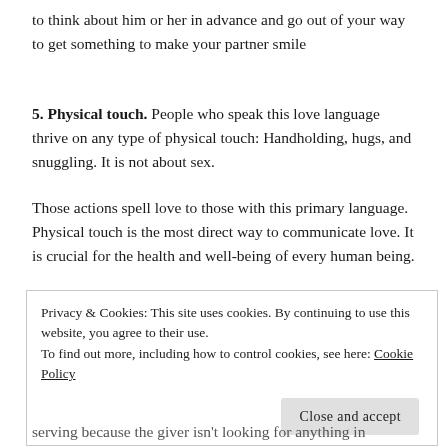to think about him or her in advance and go out of your way to get something to make your partner smile
5. Physical touch. People who speak this love language thrive on any type of physical touch: Handholding, hugs, and snuggling. It is not about sex.
Those actions spell love to those with this primary language. Physical touch is the most direct way to communicate love. It is crucial for the health and well-being of every human being.
Privacy & Cookies: This site uses cookies. By continuing to use this website, you agree to their use.
To find out more, including how to control cookies, see here: Cookie Policy
[Close and accept]
serving because the giver isn't looking for anything in